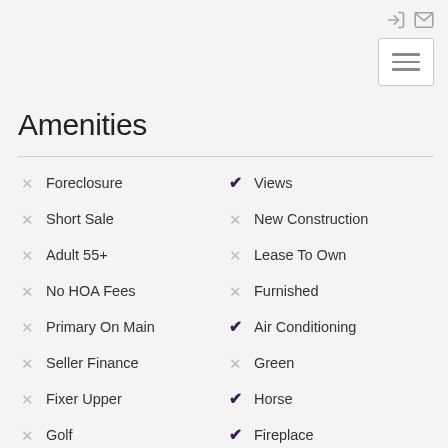Login | Mail | Menu
Amenities
× Foreclosure
✓ Views
× Short Sale
× New Construction
× Adult 55+
× Lease To Own
× No HOA Fees
× Furnished
× Primary On Main
✓ Air Conditioning
× Seller Finance
× Green
× Fixer Upper
✓ Horse
× Golf
✓ Fireplace